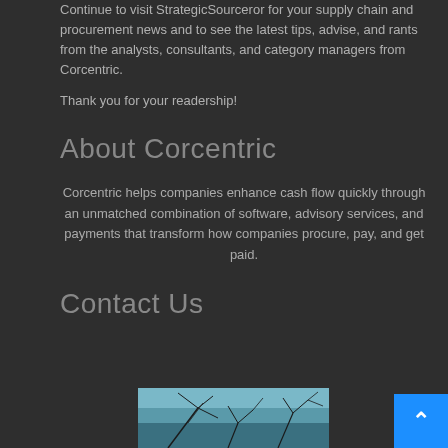Continue to visit StrategicSourceror for your supply chain and procurement news and to see the latest tips, advise, and rants from the analysts, consultants, and category managers from Corcentric.
Thank you for your readership!
About Corcentric
Corcentric helps companies enhance cash flow quickly through an unmatched combination of software, advisory services, and payments that transform how companies procure, pay, and get paid.
Contact Us
[Figure (photo): Partial photo showing tree branches against a light blue sky, placed below the Contact Us section header.]